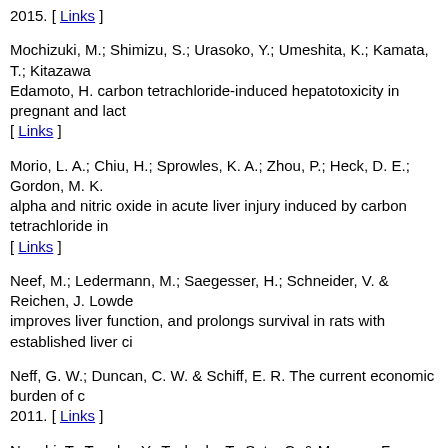2015. [ Links ]
Mochizuki, M.; Shimizu, S.; Urasoko, Y.; Umeshita, K.; Kamata, T.; Kitazawa, Edamoto, H. carbon tetrachloride-induced hepatotoxicity in pregnant and lactating [ Links ]
Morio, L. A.; Chiu, H.; Sprowles, K. A.; Zhou, P.; Heck, D. E.; Gordon, M. K. alpha and nitric oxide in acute liver injury induced by carbon tetrachloride in [ Links ]
Neef, M.; Ledermann, M.; Saegesser, H.; Schneider, V. & Reichen, J. Lowde improves liver function, and prolongs survival in rats with established liver ci
Neff, G. W.; Duncan, C. W. & Schiff, E. R. The current economic burden of c 2011. [ Links ]
Nouchi, T.; Tanaka, Y.; Tsukada, T.; Sato, C. & Marumo, F. Appearance of al fibrosis. Liver, 11(2):100-5, 1991. [ Links ]
Rivera, H.; Shibayama, M.; Tsutsumi, V.; Perez-Alvarez, V. & Muriel, P. Resv acute liver damage induced by CCl4 in the rat. J. Appl. Toxicol., 28(2):147-5
Robert, S.; Gicquel, T.; Bodin, A.; Lagente, V. & Boichot, E. Characterization induced by IL-1b or TNF-a release from human hepatic stellate cells. PLoS
Shan, L.; Ding, Y.; Fu, Y.; Zhou, L.; Dong, X.; Chen, S.; Wu, H.; Nai, W.; Zhe mesenchymal cells aggravates CCl 4- induced liver fibrosis. Sci. Rep., 6:36
Trepiana, J.; Milton-Laskibar, I.; Gómez-Zorita, S.; Eseberri, I.; González, M of 5'-activated protein kinase (AMPK) in the effects of resveratrol on liver ste